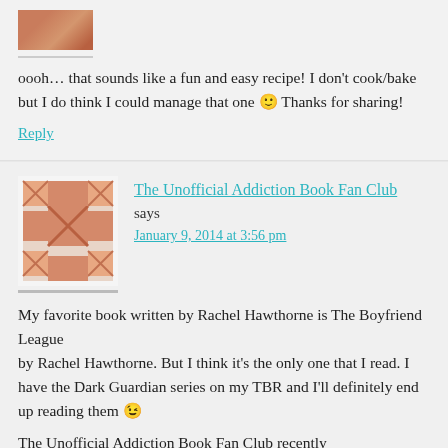[Figure (photo): Small avatar image of a commenter, partially visible at top]
oooh… that sounds like a fun and easy recipe! I don't cook/bake but I do think I could manage that one 🙂 Thanks for sharing!
Reply
The Unofficial Addiction Book Fan Club says January 9, 2014 at 3:56 pm
My favorite book written by Rachel Hawthorne is The Boyfriend League by Rachel Hawthorne. But I think it's the only one that I read. I have the Dark Guardian series on my TBR and I'll definitely end up reading them 😉
The Unofficial Addiction Book Fan Club recently